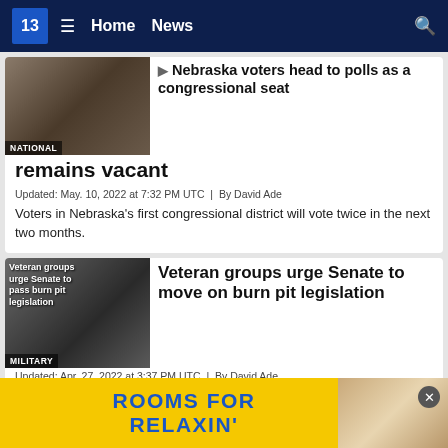13  ≡  Home  News  🔍
[Figure (screenshot): News thumbnail showing group of people, labeled NATIONAL]
Nebraska voters head to polls as a congressional seat remains vacant
Updated: May. 10, 2022 at 7:32 PM UTC  |  By David Ade
Voters in Nebraska's first congressional district will vote twice in the next two months.
[Figure (screenshot): News thumbnail showing veterans/military scene, labeled MILITARY, with overlay text 'Veteran groups urge Senate to pass burn pit legislation']
Veteran groups urge Senate to move on burn pit legislation
Updated: Apr. 27, 2022 at 3:37 PM UTC  |  By David Ade
Legislation would expand health benefits to veterans exposed to burn pits.
[Figure (screenshot): Advertisement banner: ROOMS FOR RELAXIN' with hotel room image]